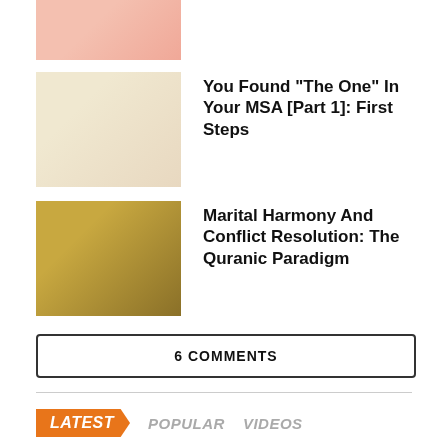[Figure (photo): Thumbnail image at top, partially cropped, showing hands with phones]
[Figure (illustration): Illustration of two people near MSA sign]
You Found “The One” In Your MSA [Part 1]: First Steps
[Figure (photo): Photo of marital/nature themed items on wooden surface]
Marital Harmony And Conflict Resolution: The Quranic Paradigm
6 COMMENTS
LATEST
POPULAR
VIDEOS
[Figure (illustration): News thumbnail illustration]
#LIFE / 2 hours ago
Getting Your Family Onboard: You Found “The One” In Your MSA [Part 2]